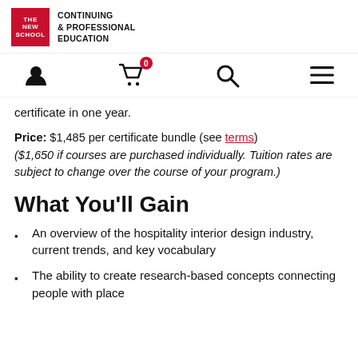THE NEW SCHOOL CONTINUING & PROFESSIONAL EDUCATION
certificate in one year.
Price: $1,485 per certificate bundle (see terms) ($1,650 if courses are purchased individually. Tuition rates are subject to change over the course of your program.)
What You'll Gain
An overview of the hospitality interior design industry, current trends, and key vocabulary
The ability to create research-based concepts connecting people with place